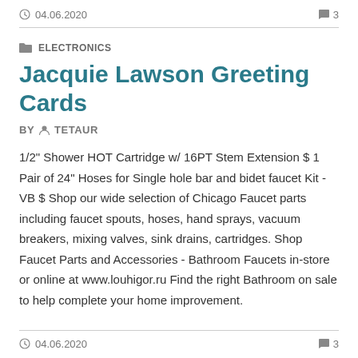04.06.2020   3
ELECTRONICS
Jacquie Lawson Greeting Cards
BY  TETAUR
1/2" Shower HOT Cartridge w/ 16PT Stem Extension $ 1 Pair of 24" Hoses for Single hole bar and bidet faucet Kit - VB $ Shop our wide selection of Chicago Faucet parts including faucet spouts, hoses, hand sprays, vacuum breakers, mixing valves, sink drains, cartridges. Shop Faucet Parts and Accessories - Bathroom Faucets in-store or online at www.louhigor.ru Find the right Bathroom on sale to help complete your home improvement.
04.06.2020   3